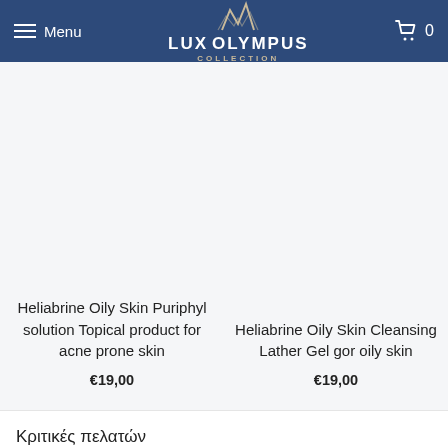Menu | LUX OLYMPUS COLLECTION | 0
Heliabrine Oily Skin Puriphyl solution Topical product for acne prone skin
€19,00
Heliabrine Oily Skin Cleansing Lather Gel gor oily skin
€19,00
Κριτικές πελατών
Δεν υπάρχουν ακόμα κριτικές
Γράψτε μια κριτική